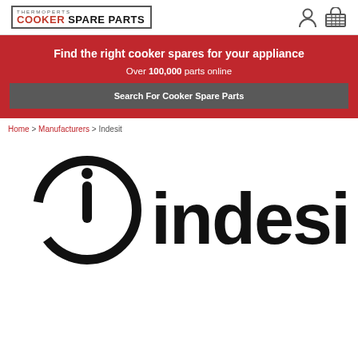Cooker Spare Parts — logo and icons
Find the right cooker spares for your appliance
Over 100,000 parts online
Search For Cooker Spare Parts
Home > Manufacturers > Indesit
[Figure (logo): Indesit brand logo in black on white background]